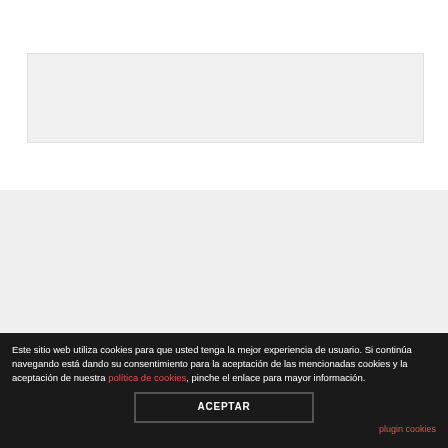[Figure (other): Light gray rectangular advertisement placeholder box]
© EdicionesDelantal 2022 | Cookies Policy | More information about cookies | Privacy Policy
Este sitio web utiliza cookies para que usted tenga la mejor experiencia de usuario. Si continúa navegando está dando su consentimiento para la aceptación de las mencionadas cookies y la aceptación de nuestra política de cookies, pinche el enlace para mayor información.
ACEPTAR
plugin cookies